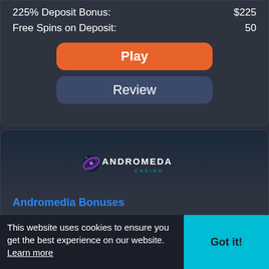225% Deposit Bonus: $225
Free Spins on Deposit: 50
Play
Review
[Figure (logo): Andromeda Casino logo with galaxy icon, text 'ANDROMEDA CASINO']
Andromedia Bonuses
Free Spins Bonus: 25
225% Deposit Bonus: $1125
Free Spins on Deposit: 50
This website uses cookies to ensure you get the best experience on our website. Learn more
Got it!